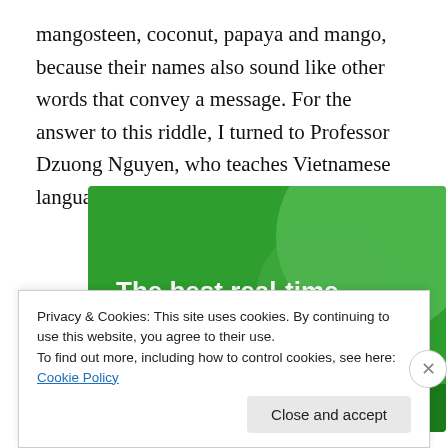mangosteen, coconut, papaya and mango, because their names also sound like other words that convey a message. For the answer to this riddle, I turned to Professor Dzuong Nguyen, who teaches Vietnamese language courses at Stanford University.
[Figure (infographic): Green advertisement banner for 'The best real-time WordPress backup plugin' with circular decorative shapes on a green background.]
Privacy & Cookies: This site uses cookies. By continuing to use this website, you agree to their use.
To find out more, including how to control cookies, see here: Cookie Policy